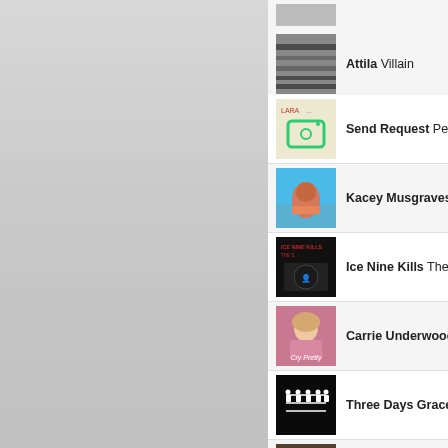Attila Villain
Send Request Pers...
Kacey Musgraves ...
Ice Nine Kills The S...
Carrie Underwood ...
Three Days Grace ...
Jason Aldean Rear...
(partial row)